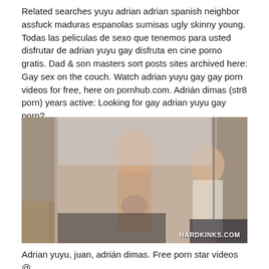Related searches yuyu adrian adrian spanish neighbor assfuck maduras espanolas sumisas ugly skinny young. Todas las peliculas de sexo que tenemos para usted disfrutar de adrian yuyu gay disfruta en cine porno gratis. Dad & son masters sort posts sites archived here: Gay sex on the couch. Watch adrian yuyu gay gay porn videos for free, here on pornhub.com. Adrián dimas (str8 porn) years active: Looking for gay adrian yuyu gay porn?
[Figure (photo): Adult content photo with HARDKINKS.COM watermark]
Adrian yuyu, juan, adrián dimas. Free porn star videos @